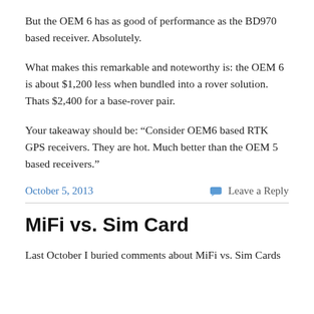But the OEM 6 has as good of performance as the BD970 based receiver. Absolutely.
What makes this remarkable and noteworthy is: the OEM 6 is about $1,200 less when bundled into a rover solution. Thats $2,400 for a base-rover pair.
Your takeaway should be: “Consider OEM6 based RTK GPS receivers. They are hot. Much better than the OEM 5 based receivers.”
October 5, 2013    Leave a Reply
MiFi vs. Sim Card
Last October I buried comments about MiFi vs. Sim Cards